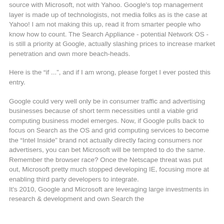source with Microsoft, not with Yahoo. Google's top management layer is made up of technologists, not media folks as is the case at Yahoo! I am not making this up, read it from smarter people who know how to count. The Search Appliance - potential Network OS - is still a priority at Google, actually slashing prices to increase market penetration and own more beach-heads.
Here is the “if ...”, and if I am wrong, please forget I ever posted this entry.
Google could very well only be in consumer traffic and advertising businesses because of short term necessities until a viable grid computing business model emerges. Now, if Google pulls back to focus on Search as the OS and grid computing services to become the “Intel Inside” brand not actually directly facing consumers nor advertisers, you can bet Microsoft will be tempted to do the same. Remember the browser race? Once the Netscape threat was put out, Microsoft pretty much stopped developing IE, focusing more at enabling third party developers to integrate. It’s 2010, Google and Microsoft are leveraging large investments in research & development and own Search the